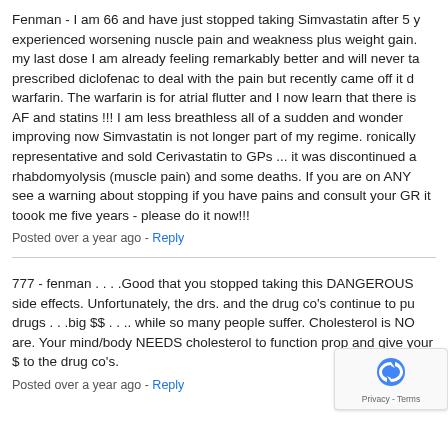Fenman - I am 66 and have just stopped taking Simvastatin after 5 y... experienced worsening nuscle pain and weakness plus weight gain... my last dose I am already feeling remarkably better and will never ta... prescribed diclofenac to deal with the pain but recently came off it d... warfarin. The warfarin is for atrial flutter and I now learn that there is... AF and statins !!! I am less breathless all of a sudden and wonder ... improving now Simvastatin is not longer part of my regime. ronically... representative and sold Cerivastatin to GPs ... it was discontinued a... rhabdomyolysis (muscle pain) and some deaths. If you are on ANY ... see a warning about stopping if you have pains and consult your GR... it toook me five years - please do it now!!!
Posted over a year ago - Reply
777 - fenman . . . .Good that you stopped taking this DANGEROUS ... side effects. Unfortunately, the drs. and the drug co's continue to pu... drugs . . .big $$ . . .. while so many people suffer. Cholesterol is NO... are. Your mind/body NEEDS cholesterol to function prop... and give your $ to the drug co's.
Posted over a year ago - Reply